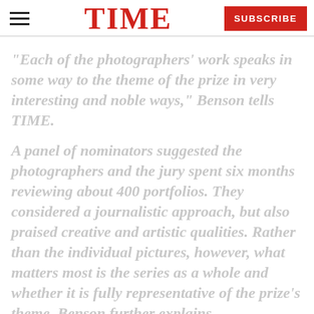TIME  SUBSCRIBE
“Each of the photographers’ work speaks in some way to the theme of the prize in very interesting and noble ways,” Benson tells TIME.
A panel of nominators suggested the photographers and the jury spent six months reviewing about 400 portfolios. They considered a journalistic approach, but also praised creative and artistic qualities. Rather than the individual pictures, however, what matters most is the series as a whole and whether it is fully representative of the prize’s theme, Benson further explains.
The photographers, like South African